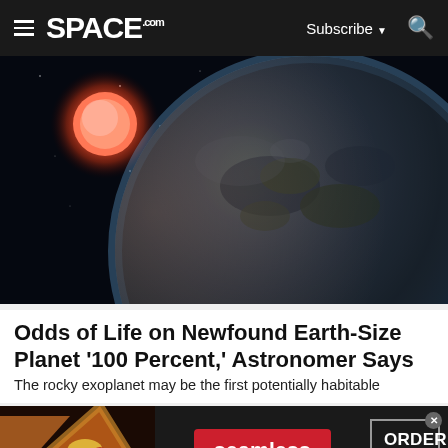SPACE.com — Subscribe — Search
[Figure (illustration): Artist's illustration of an Earth-size exoplanet with a large rocky surface visible in the foreground against a dark starfield, with a red star (red dwarf) glowing in the upper left background]
Odds of Life on Newfound Earth-Size Planet '100 Percent,' Astronomer Says
The rocky exoplanet may be the first potentially habitable
[Figure (advertisement): Seamless food delivery advertisement showing pizza slices on the left, a red 'seamless' button in the center, and an 'ORDER NOW' box on the right]